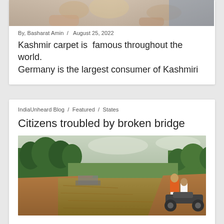[Figure (photo): Top portion of a person working on a Kashmir carpet, showing hands and fabric]
By, Basharat Amin / August 25, 2022
Kashmir carpet is  famous throughout the world. Germany is the largest consumer of Kashmiri
IndiaUnheard Blog / Featured / States
Citizens troubled by broken bridge
[Figure (photo): A broken bridge with muddy floodwater below, trees in background, two people on a motorcycle navigating the damaged road beside the river]